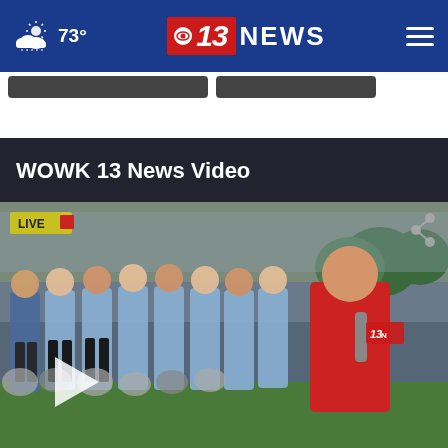73° — WOWK 13 News navigation bar
[Figure (screenshot): WOWK 13 News website screenshot showing navigation bar with CBS 13 NEWS logo, weather showing 73°, hamburger menu, and a video section titled 'WOWK 13 News Video' with a thumbnail of a TV reporter interviewing cheerleaders at a sports stadium with a LIVE badge overlay and play button]
WOWK 13 News Video